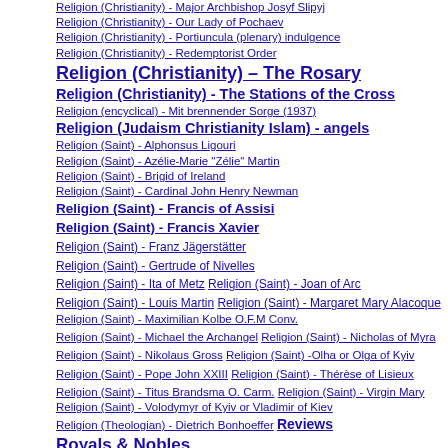Religion (Christianity) - Major Archbishop Josyf Slipyj
Religion (Christianity) - Our Lady of Pochaev
Religion (Christianity) - Portiuncula (plenary) indulgence
Religion (Christianity) - Redemptorist Order
Religion (Christianity) – The Rosary
Religion (Christianity) - The Stations of the Cross
Religion (encyclical) - Mit brennender Sorge (1937)
Religion (Judaism Christianity Islam) - angels
Religion (Saint) - Alphonsus Ligouri
Religion (Saint) - Azélie-Marie "Zélie" Martin
Religion (Saint) - Brigid of Ireland
Religion (Saint) - Cardinal John Henry Newman
Religion (Saint) - Francis of Assisi   Religion (Saint) - Francis Xavier
Religion (Saint) - Franz Jägerstätter   Religion (Saint) - Gertrude of Nivelles
Religion (Saint) - Ita of Metz   Religion (Saint) - Joan of Arc
Religion (Saint) - Louis Martin   Religion (Saint) - Margaret Mary Alacoque
Religion (Saint) - Maximilian Kolbe O.F.M Conv.
Religion (Saint) - Michael the Archangel   Religion (Saint) - Nicholas of Myra
Religion (Saint) - Nikolaus Gross   Religion (Saint) -Olha or Olga of Kyiv
Religion (Saint) - Pope John XXIII   Religion (Saint) - Thérèse of Lisieux
Religion (Saint) - Titus Brandsma O. Carm.   Religion (Saint) - Virgin Mary
Religion (Saint) - Volodymyr of Kyiv or Vladimir of Kiev
Religion (Theologian) - Dietrich Bonhoeffer   Reviews   Royals & Nobles
Royals & Nobles - Baroness Josephine von Braun
Royals & Nobles - Baron Gottfried van Swieten
Royals & Nobles - Baron Gottfried van Swieten (1833-1803)
Royals & Nobles - Bohemian Prince Ferdinand Lobkowitz (1772-1816)
Royals & Nobles - Count Moritz Christian von Fries
Royals & Nobles - Grand Duke Alexander Pavlovich
Royals & Nobles - Henry III Holy Roman Emperor
Royals & Nobles - Joseph II Holy Roman Emperor
Royals & Nobles - King Louis XIV of France
Royals & Nobles - Landgravine Josepha of Fürstenberg-Weitra Princess of...